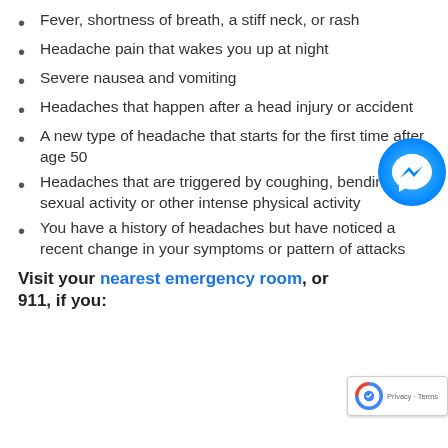Fever, shortness of breath, a stiff neck, or rash
Headache pain that wakes you up at night
Severe nausea and vomiting
Headaches that happen after a head injury or accident
A new type of headache that starts for the first time after age 50
Headaches that are triggered by coughing, bending, sexual activity or other intense physical activity
You have a history of headaches but have noticed a recent change in your symptoms or pattern of attacks
Visit your nearest emergency room, or 911, if you: